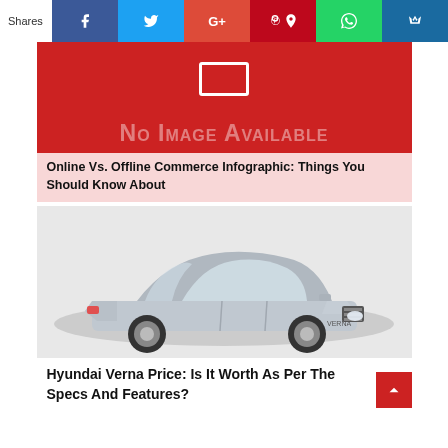Shares | Facebook | Twitter | Google+ | Pinterest | WhatsApp | Crown
[Figure (other): No Image Available placeholder card with red background and text 'No Image Available']
Online Vs. Offline Commerce Infographic: Things You Should Know About
[Figure (photo): Silver Hyundai Verna sedan car photographed from a front three-quarter angle on a white background]
Hyundai Verna Price: Is It Worth As Per The Specs And Features?